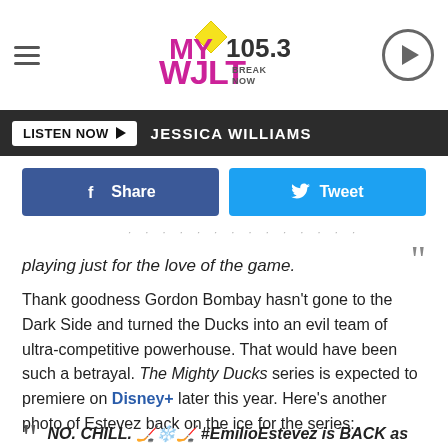[Figure (screenshot): MY 105.3 WJLT radio station header logo with hamburger menu on left and play button on right]
LISTEN NOW ▶   JESSICA WILLIAMS
[Figure (screenshot): Facebook Share button (blue) and Twitter Tweet button (cyan)]
playing just for the love of the game.
Thank goodness Gordon Bombay hasn't gone to the Dark Side and turned the Ducks into an evil team of ultra-competitive powerhouse. That would have been such a betrayal. The Mighty Ducks series is expected to premiere on Disney+ later this year. Here's another photo of Estevez back on the ice for the series:
NO. CHILL. 🏒❄️🏒 #EmilioEstevez is BACK as Gordon